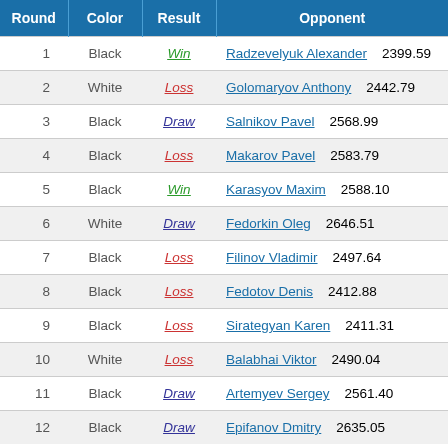| Round | Color | Result | Opponent |  |
| --- | --- | --- | --- | --- |
| 1 | Black | Win | Radzevelyuk Alexander | 2399.59 |
| 2 | White | Loss | Golomaryov Anthony | 2442.79 |
| 3 | Black | Draw | Salnikov Pavel | 2568.99 |
| 4 | Black | Loss | Makarov Pavel | 2583.79 |
| 5 | Black | Win | Karasyov Maxim | 2588.10 |
| 6 | White | Draw | Fedorkin Oleg | 2646.51 |
| 7 | Black | Loss | Filinov Vladimir | 2497.64 |
| 8 | Black | Loss | Fedotov Denis | 2412.88 |
| 9 | Black | Loss | Sirategyan Karen | 2411.31 |
| 10 | White | Loss | Balabhai Viktor | 2490.04 |
| 11 | Black | Draw | Artemyev Sergey | 2561.40 |
| 12 | Black | Draw | Epifanov Dmitry | 2635.05 |